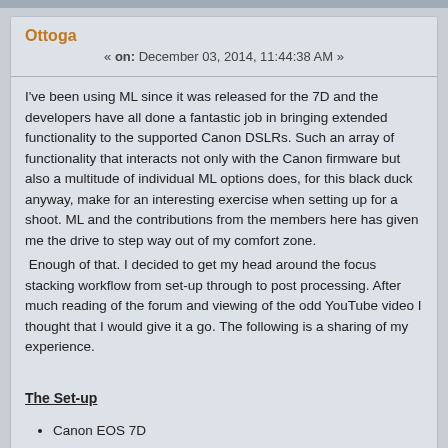Ottoga
« on: December 03, 2014, 11:44:38 AM »
I've been using ML since it was released for the 7D and the developers have all done a fantastic job in bringing extended functionality to the supported Canon DSLRs. Such an array of functionality that interacts not only with the Canon firmware but also a multitude of individual ML options does, for this black duck anyway, make for an interesting exercise when setting up for a shoot. ML and the contributions from the members here has given me the drive to step way out of my comfort zone.
 Enough of that. I decided to get my head around the focus stacking workflow from set-up through to post processing. After much reading of the forum and viewing of the odd YouTube video I thought that I would give it a go. The following is a sharing of my experience.
The Set-up
Canon EOS 7D
EFS 18-55 IS lens
Komputerbay 128gb 1000x CF card
Latest official ML build.
A good sturdy tripod – mandatory.
A good TS lens – ideally with tilt facility.